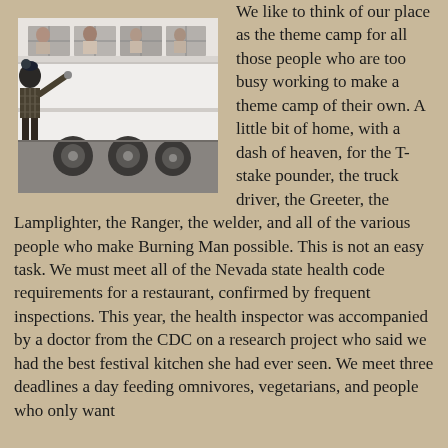[Figure (photo): Black and white photograph of a large vehicle or trailer with people visible through windows, and a person standing beside it in a plaid shirt]
We like to think of our place as the theme camp for all those people who are too busy working to make a theme camp of their own. A little bit of home, with a dash of heaven, for the T-stake pounder, the truck driver, the Greeter, the Lamplighter, the Ranger, the welder, and all of the various people who make Burning Man possible. This is not an easy task. We must meet all of the Nevada state health code requirements for a restaurant, confirmed by frequent inspections. This year, the health inspector was accompanied by a doctor from the CDC on a research project who said we had the best festival kitchen she had ever seen. We meet three deadlines a day feeding omnivores, vegetarians, and people who only want